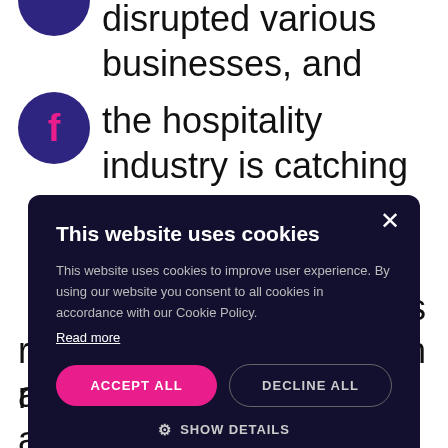disrupted various businesses, and the hospitality industry is catching up quickly. Early advances in technology enabled travel and accommodation arrangements to be made literally in the palm of your hand, ...achable. ...modules ...ped with ranking systems, which makes customer
[Figure (screenshot): Cookie consent modal overlay on a dark navy background. Contains title 'This website uses cookies', body text, 'Read more' link, 'ACCEPT ALL' (pink) and 'DECLINE ALL' (outlined) buttons, and 'SHOW DETAILS' option with gear icon. Close X button in top right.]